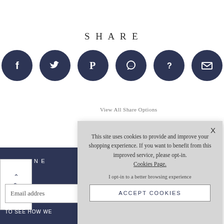SHARE
[Figure (illustration): Six dark navy circular social media share icons in a row: Facebook (f), Twitter (bird), Pinterest (P), WhatsApp (speech bubble), unknown (?), and Email (envelope)]
View All Share Options
NE
Email address
TO SEE HOW WE
TOP
[Figure (screenshot): Cookie consent popup overlay with text: 'This site uses cookies to provide and improve your shopping experience. If you want to benefit from this improved service, please opt-in. Cookies Page. I opt-in to a better browsing experience' and an ACCEPT COOKIES button]